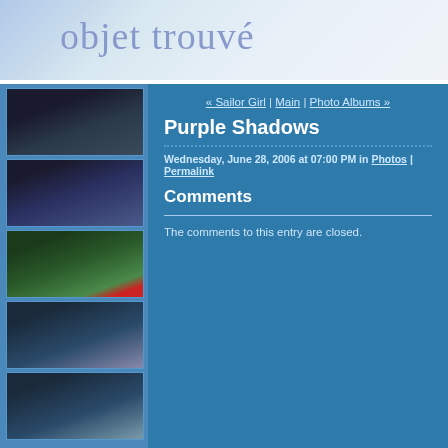objet trouvé
[Figure (photo): Thumbnail photo 1: football players in dark uniforms]
[Figure (photo): Thumbnail photo 2: volleyball players]
[Figure (photo): Thumbnail photo 3: person with American flag]
[Figure (photo): Thumbnail photo 4: waterfall]
[Figure (photo): Thumbnail photo 5: waterfall close-up]
« Sailor Girl | Main | Photo Albums »
Purple Shadows
Wednesday, June 28, 2006 at 07:00 PM in Photos | Permalink
Comments
The comments to this entry are closed.